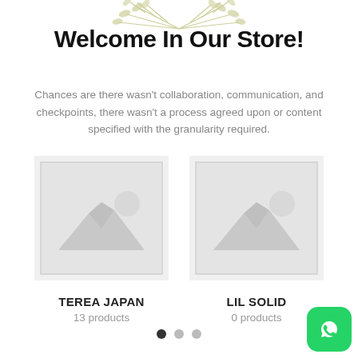[Figure (illustration): Decorative olive branch / leaf illustration at the top of the page]
Welcome In Our Store!
Chances are there wasn't collaboration, communication, and checkpoints, there wasn't a process agreed upon or content specified with the granularity required.
[Figure (photo): Product placeholder image for TEREA JAPAN category]
TEREA JAPAN
13 products
[Figure (photo): Product placeholder image for LIL SOLID category]
LIL SOLID
0 products
[Figure (other): WhatsApp floating button icon in bottom right corner]